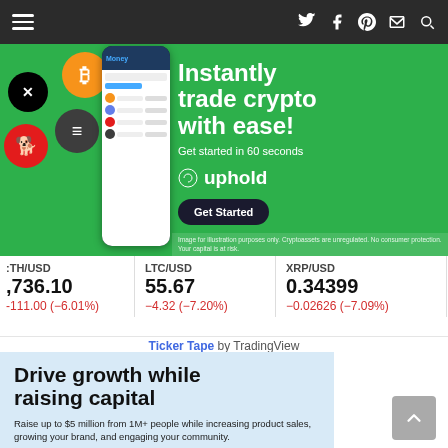Navigation bar with hamburger menu and social icons (Twitter, Facebook, Pinterest, Email, Search)
[Figure (advertisement): Uphold crypto exchange ad banner. Green background with crypto logos (XRP, Bitcoin, Shiba Inu, Stellar), phone mockup, text 'Instantly trade crypto with ease!', 'Get started in 60 seconds', Uphold logo, 'Get Started' button. Disclaimer: 'Image for illustration purposes only. Cryptoassets are unregulated. No consumer protection. Your capital is at risk.']
ETH/USD  1,736.10  -111.00 (-6.01%)
LTC/USD  55.67  -4.32 (-7.20%)
XRP/USD  0.34399  -0.02626 (-7.09%)
15  -9...
Ticker Tape by TradingView
[Figure (advertisement): Wefunder ad on light blue background. Title: 'Drive growth while raising capital'. Text: 'Raise up to $5 million from 1M+ people while increasing product sales, growing your brand, and engaging your community.' Button: 'Apply to raise']